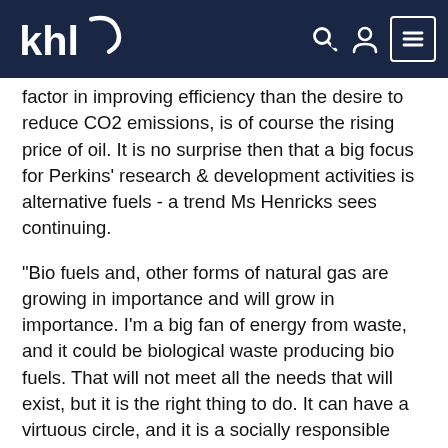khl [logo] [search icon] [user icon] [menu icon]
factor in improving efficiency than the desire to reduce CO2 emissions, is of course the rising price of oil. It is no surprise then that a big focus for Perkins' research & development activities is alternative fuels - a trend Ms Henricks sees continuing.
"Bio fuels and, other forms of natural gas are growing in importance and will grow in importance. I'm a big fan of energy from waste, and it could be biological waste producing bio fuels. That will not meet all the needs that will exist, but it is the right thing to do. It can have a virtuous circle, and it is a socially responsible thing to do.
"The issue is that you get very variable, non-homogeneous fuels coming in, but there is work going on there and this issue will not be seen with engineered fuels.